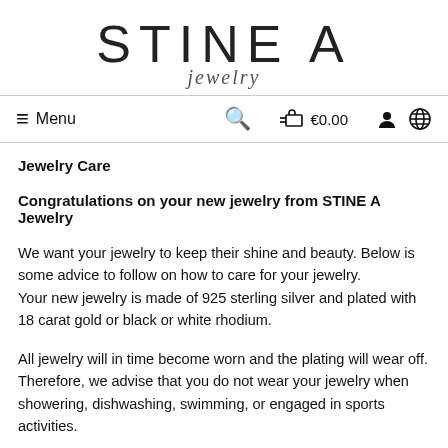[Figure (logo): STINE A jewelry logo — large thin sans-serif lettering 'STINE A' with italic cursive 'jewelry' below]
≡ Menu  🔍  🛒 €0.00  👤 🌐
Jewelry Care
Congratulations on your new jewelry from STINE A Jewelry
We want your jewelry to keep their shine and beauty. Below is some advice to follow on how to care for your jewelry.
Your new jewelry is made of 925 sterling silver and plated with 18 carat gold or black or white rhodium.
All jewelry will in time become worn and the plating will wear off. Therefore, we advise that you do not wear your jewelry when showering, dishwashing, swimming, or engaged in sports activities.